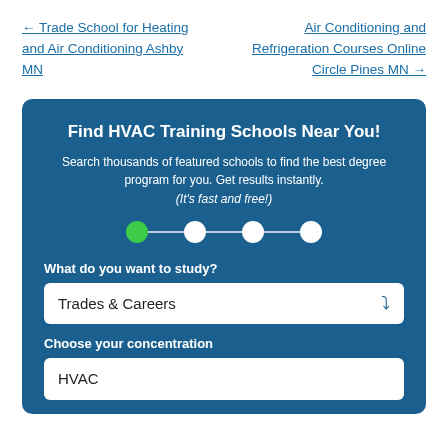← Trade School for Heating and Air Conditioning Ashby MN
Air Conditioning and Refrigeration Courses Online Circle Pines MN →
[Figure (infographic): Blue box with HVAC school finder widget. Contains title 'Find HVAC Training Schools Near You!', descriptive text, a 4-step progress indicator (first step active/green), a dropdown for study subject showing 'Trades & Careers', and a partially visible second dropdown for concentration showing 'HVAC'.]
Find HVAC Training Schools Near You!
Search thousands of featured schools to find the best degree program for you. Get results instantly. (It's fast and free!)
What do you want to study?
Trades & Careers
Choose your concentration
HVAC